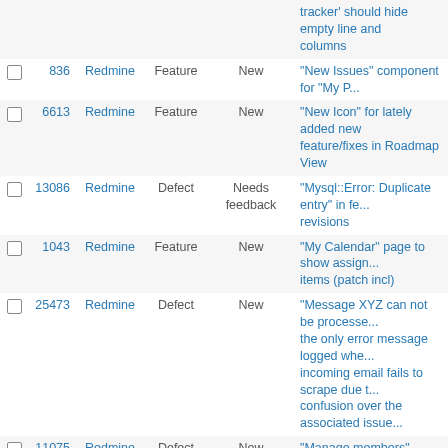|  | # | Project | Tracker | Status | Subject |
| --- | --- | --- | --- | --- | --- |
|  |  |  |  |  | tracker' should hide empty line and columns |
|  | 836 | Redmine | Feature | New | "New Issues" component for "My P... |
|  | 6613 | Redmine | Feature | New | "New Icon" for lately added new feature/fixes in Roadmap View |
|  | 13086 | Redmine | Defect | Needs feedback | "Mysql::Error: Duplicate entry" in fe... revisions |
|  | 1043 | Redmine | Feature | New | "My Calendar" page to show assign... items (patch incl) |
|  | 25473 | Redmine | Defect | New | "Message XYZ can not be processe... the only error message logged whe... incoming email fails to scrape due t... confusion over the associated issue... |
|  | 11075 | Redmine | Defect | New | "Manage members" permission allo... user to elevate own permissions |
|  | 28328 | Redmine | Feature | New | "Manage files" permission should b... to add and remove |
|  | 23140 | Redmine | Feature | New | "Mail Notification" override for ticke... submitted via email |
|  | 15676 | Redmine | Defect | New | "Latest" revisions on repository vie... confused |
|  | 2705 | Redmine | Feature | New | "Jump to a project..." drop-down sh... public projects |
|  | 15348 | Redmine | Feature | New | "Issues can be assigned to this gro... |
|  | 11709 | Redmine | Feature | New | "Issues assigned to me" ordering p... |
|  | 4768 | Redmine | Feature | New | "issue category" should have a "description" field |
|  | 34108 | Redmine | Defect | New | "Is duplicate of" and "Has duplicate... relations can be a circular reference... |
|  | 4953 | Redmine | Defect | Confirmed | "In the past N days" filter displays N... days |
|  | 12532 | Redmine | Feature | Reopened | "Improve visibility of the "test emai... |